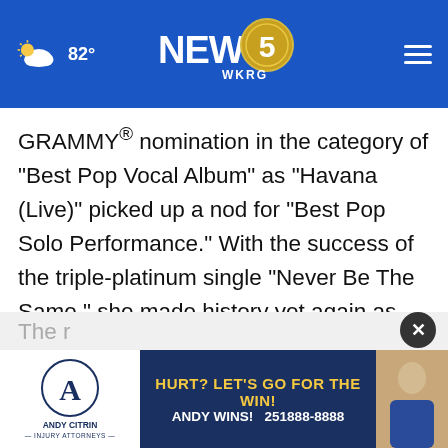82° NEWS 5 WKRG
GRAMMY® nomination in the category of "Best Pop Vocal Album" as "Havana (Live)" picked up a nod for "Best Pop Solo Performance." With the success of the triple-platinum single "Never Be The Same," she made history yet again as "the first artist ever to land two multi-format number one singles with the first two singles from a debut album." During 2019, she teamed up with Shawn Mendes for "Señorita."
The r...
nomination for "Best Pop Duo/Group
[Figure (screenshot): Andy Citrin Injury Attorneys advertisement: 'HURT? LET'S GO FOR THE WIN! ANDY WINS! 251-888-8888']